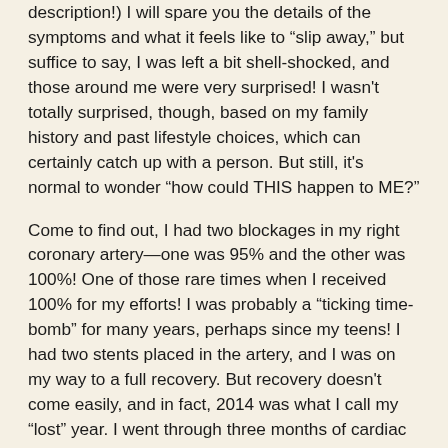description!) I will spare you the details of the symptoms and what it feels like to “slip away,” but suffice to say, I was left a bit shell-shocked, and those around me were very surprised! I wasn't totally surprised, though, based on my family history and past lifestyle choices, which can certainly catch up with a person. But still, it's normal to wonder “how could THIS happen to ME?”
Come to find out, I had two blockages in my right coronary artery—one was 95% and the other was 100%! One of those rare times when I received 100% for my efforts! I was probably a “ticking time-bomb” for many years, perhaps since my teens! I had two stents placed in the artery, and I was on my way to a full recovery. But recovery doesn't come easily, and in fact, 2014 was what I call my “lost” year. I went through three months of cardiac rehab (which I enjoyed), and I focused on even more lifestyle/dietary changes. It was fairly easy for me though, as I had already adopted a healthier mindset, but by now I had a further education in proper diet and exercise, and of course, some serious health incentives! To date, I am down over 70 lbs from where I started in 2009